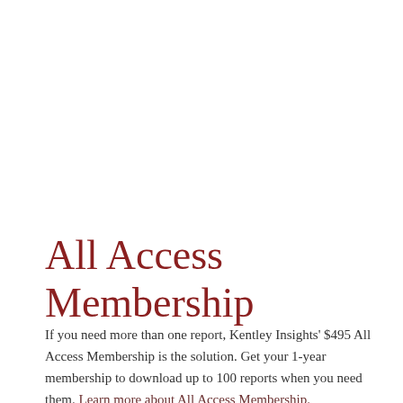All Access Membership
If you need more than one report, Kentley Insights' $495 All Access Membership is the solution. Get your 1-year membership to download up to 100 reports when you need them. Learn more about All Access Membership.